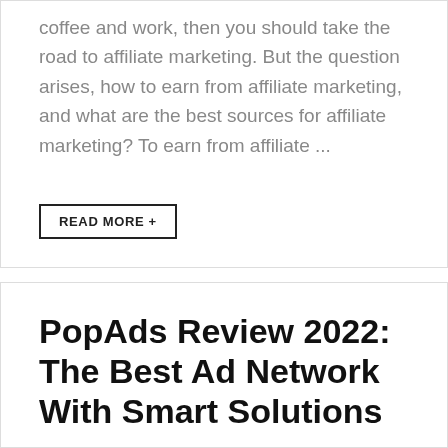coffee and work, then you should take the road to affiliate marketing. But the question arises, how to earn from affiliate marketing, and what are the best sources for affiliate marketing? To earn from affiliate ...
READ MORE +
PopAds Review 2022: The Best Ad Network With Smart Solutions